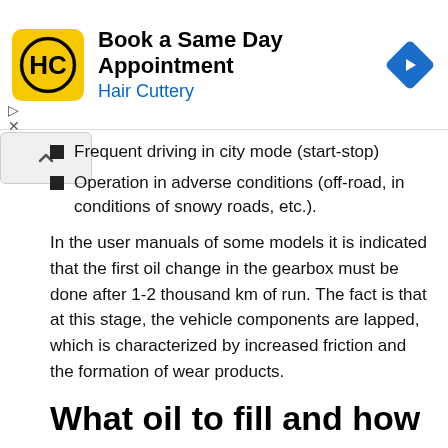[Figure (logo): Hair Cuttery ad banner with HC logo, text 'Book a Same Day Appointment' and 'Hair Cuttery', and a blue navigation arrow icon]
Frequent driving in city mode (start-stop)
Operation in adverse conditions (off-road, in conditions of snowy roads, etc.).
In the user manuals of some models it is indicated that the first oil change in the gearbox must be done after 1-2 thousand km of run. The fact is that at this stage, the vehicle components are lapped, which is characterized by increased friction and the formation of wear products.
What oil to fill and how